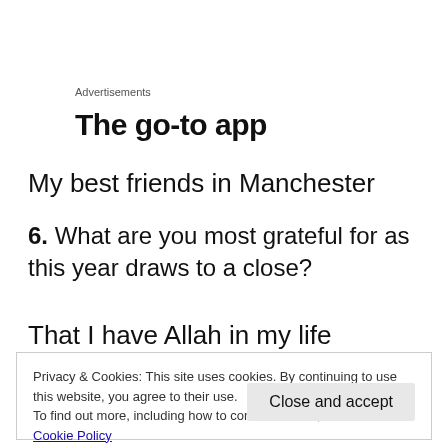Advertisements
[Figure (other): Partial advertisement banner showing bold text 'The go-to app' cropped at edges]
My best friends in Manchester
6. What are you most grateful for as this year draws to a close?
That I have Allah in my life
Privacy & Cookies: This site uses cookies. By continuing to use this website, you agree to their use.
To find out more, including how to control cookies, see here: Cookie Policy
Close and accept